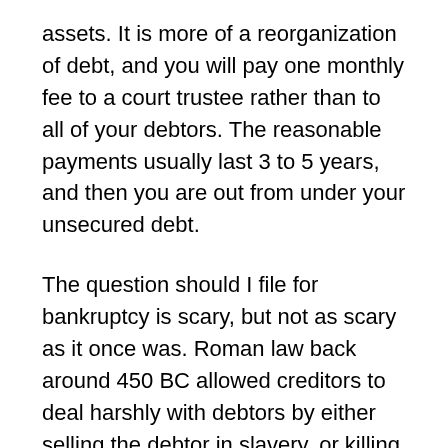assets. It is more of a reorganization of debt, and you will pay one monthly fee to a court trustee rather than to all of your debtors. The reasonable payments usually last 3 to 5 years, and then you are out from under your unsecured debt.
The question should I file for bankruptcy is scary, but not as scary as it once was. Roman law back around 450 BC allowed creditors to deal harshly with debtors by either selling the debtor in slavery, or killing them. Luckily, your life is not in danger, but you should be aware that bankruptcy is not a complete clean slate. Not all of your debt will disappear once you have claimed bankruptcy. Secured debt and some other types of debt may not be covered through your filing.